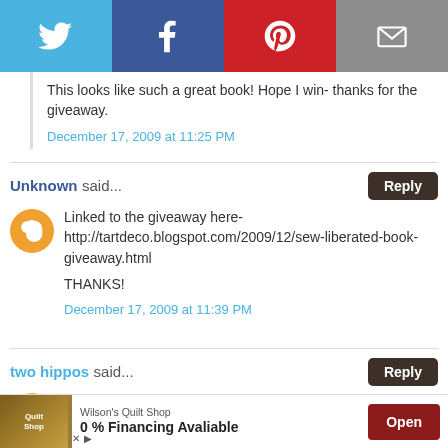[Figure (other): Social sharing bar with Twitter, Facebook, Pinterest, and Email icons]
This looks like such a great book! Hope I win- thanks for the giveaway.
December 17, 2009 at 11:25 PM
Unknown said...
Linked to the giveaway here- http://tartdeco.blogspot.com/2009/12/sew-liberated-book-giveaway.html

THANKS!
December 17, 2009 at 11:39 PM
two hippos said...
[Figure (infographic): Advertisement banner: Wilson's Quilt Shop, 0% Financing Avaliable, Open button]